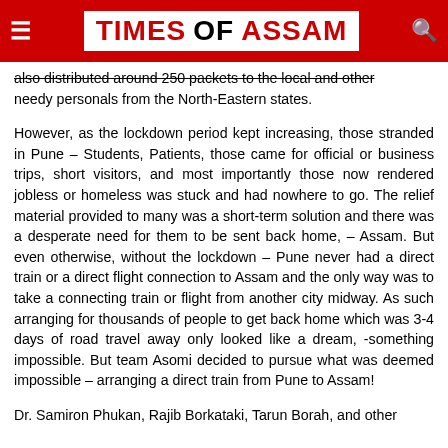TIMES OF ASSAM
also distributed around 250 packets to the local and other needy personals from the North-Eastern states.
However, as the lockdown period kept increasing, those stranded in Pune – Students, Patients, those came for official or business trips, short visitors, and most importantly those now rendered jobless or homeless was stuck and had nowhere to go. The relief material provided to many was a short-term solution and there was a desperate need for them to be sent back home, – Assam. But even otherwise, without the lockdown – Pune never had a direct train or a direct flight connection to Assam and the only way was to take a connecting train or flight from another city midway. As such arranging for thousands of people to get back home which was 3-4 days of road travel away only looked like a dream, -something impossible. But team Asomi decided to pursue what was deemed impossible – arranging a direct train from Pune to Assam!
Dr. Samiron Phukan, Rajib Borkataki, Tarun Borah, and other also....